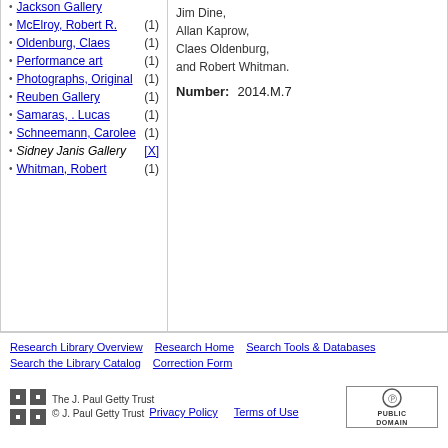Jackson Gallery
McElroy, Robert R. (1)
Oldenburg, Claes (1)
Performance art (1)
Photographs, Original (1)
Reuben Gallery (1)
Samaras, . Lucas (1)
Schneemann, Carolee (1)
Sidney Janis Gallery [X]
Whitman, Robert (1)
Jim Dine, Allan Kaprow, Claes Oldenburg, and Robert Whitman.
Number: 2014.M.7
Research Library Overview  Research Home  Search Tools & Databases  Search the Library Catalog  Correction Form
The J. Paul Getty Trust © J. Paul Getty Trust
Privacy Policy  Terms of Use